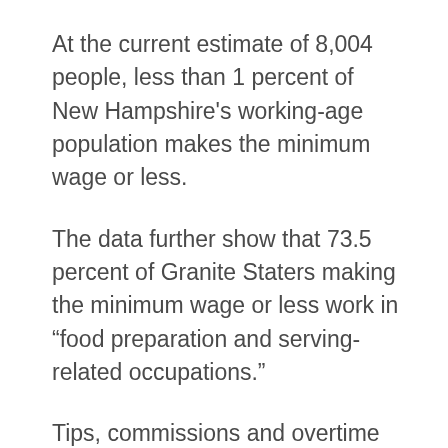At the current estimate of 8,004 people, less than 1 percent of New Hampshire's working-age population makes the minimum wage or less.
The data further show that 73.5 percent of Granite Staters making the minimum wage or less work in “food preparation and serving-related occupations.”
Tips, commissions and overtime pay are not included in the minimum wage figures, so the actual take-home pay of about three-fourths of New Hampshire employees who are classified as minimum-